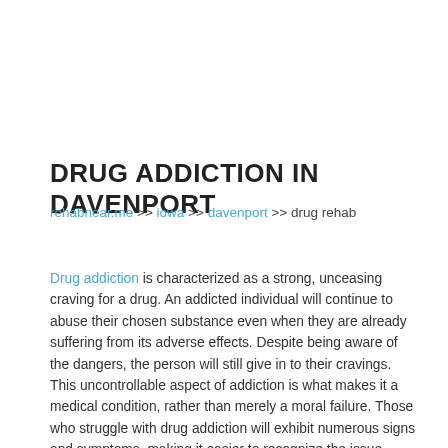DRUG ADDICTION IN DAVENPORT
rehabnear.me >> iowa >> davenport >> drug rehab
Drug addiction is characterized as a strong, unceasing craving for a drug. An addicted individual will continue to abuse their chosen substance even when they are already suffering from its adverse effects. Despite being aware of the dangers, the person will still give in to their cravings. This uncontrollable aspect of addiction is what makes it a medical condition, rather than merely a moral failure. Those who struggle with drug addiction will exhibit numerous signs and symptoms, making it easier to recognize the issue.